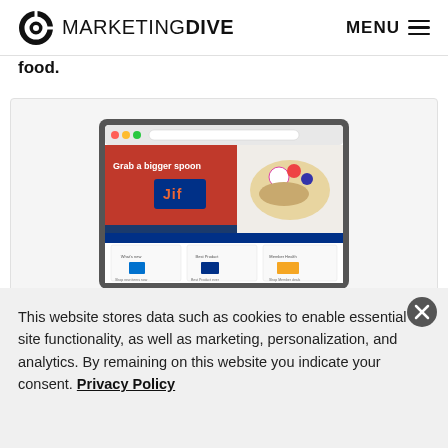MARKETING DIVE | MENU
food.
[Figure (screenshot): Screenshot of a laptop showing a Kroger / Walmart-style grocery retail website with a 'Grab a bigger spoon' Jif peanut butter promotion banner and product cards below. An 'Access now →' button appears at bottom right of the ad box.]
This website stores data such as cookies to enable essential site functionality, as well as marketing, personalization, and analytics. By remaining on this website you indicate your consent. Privacy Policy